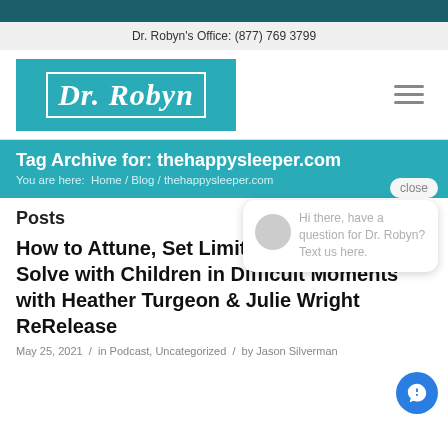Dr. Robyn's Office: (877) 769 3799
[Figure (logo): Dr. Robyn logo — white italic serif text on teal background with white border rectangle]
Tag Archive for: thehappysleeper.com
You are here: Home / Blog / thehappysleeper.com
Posts
How to Attune, Set Limits and Problem-Solve with Children in Difficult Moments with Heather Turgeon & Julie Wright ReRelease
May 25, 2021 / in Podcast, Uncategorized / by Jason Silverman